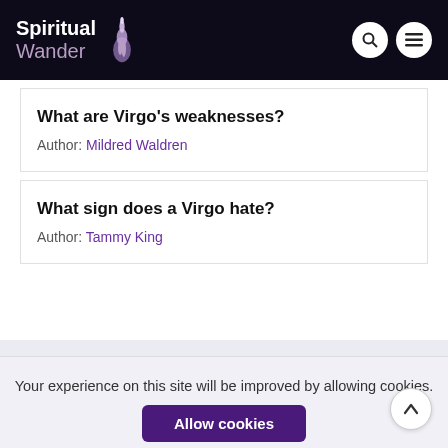Spiritual Wander
What are Virgo's weaknesses?
Author: Mildred Waldren
What sign does a Virgo hate?
Author: Tammy King
Your experience on this site will be improved by allowing cookies.